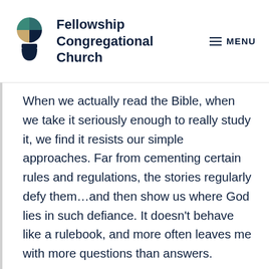Fellowship Congregational Church
When we actually read the Bible, when we take it seriously enough to really study it, we find it resists our simple approaches. Far from cementing certain rules and regulations, the stories regularly defy them…and then show us where God lies in such defiance. It doesn't behave like a rulebook, and more often leaves me with more questions than answers.